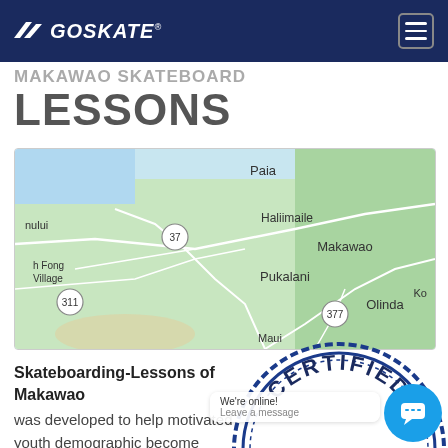GOSKATE
MAKAWAO SKATEBOARD LESSONS
[Figure (map): Google Maps view of Makawao area in Maui, Hawaii showing locations: Paia, Haliimaile, Makawao, Pukalani, Olinda, with road markers 37, 311, 377]
Skateboarding-Lessons of Makawao was developed to help motivated youth demographic become involved in a healthy activity and to keep
[Figure (illustration): Certified Skate Instructor stamp/seal - circular blue stamp with text CERTIFIED and SKATE INSTRUCTOR with red stars]